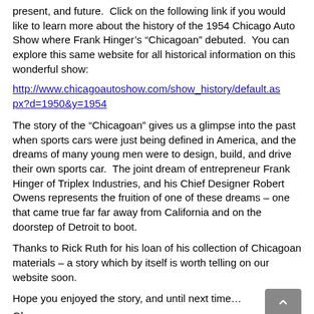present, and future.  Click on the following link if you would like to learn more about the history of the 1954 Chicago Auto Show where Frank Hinger’s “Chicagoan” debuted.  You can explore this same website for all historical information on this wonderful show:
http://www.chicagoautoshow.com/show_history/default.aspx?d=1950&y=1954
The story of the “Chicagoan” gives us a glimpse into the past when sports cars were just being defined in America, and the dreams of many young men were to design, build, and drive their own sports car.  The joint dream of entrepreneur Frank Hinger of Triplex Industries, and his Chief Designer Robert Owens represents the fruition of one of these dreams – one that came true far far away from California and on the doorstep of Detroit to boot.
Thanks to Rick Ruth for his loan of his collection of Chicagoan materials – a story which by itself is worth telling on our website soon.
Hope you enjoyed the story, and until next time…
Glass on gang…
Geoff